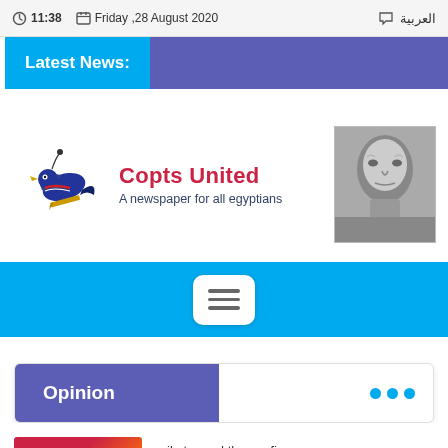11:38   Friday ,28 August 2020   العربية
Latest News:
[Figure (logo): Copts United logo — stylized bird with Egyptian flag colors. Text: 'Copts United — A newspaper for all egyptians']
[Figure (photo): Black and white portrait photo of an elderly man]
[Figure (other): Blue navigation bar with a white hamburger menu button (three horizontal lines)]
Opinion
...